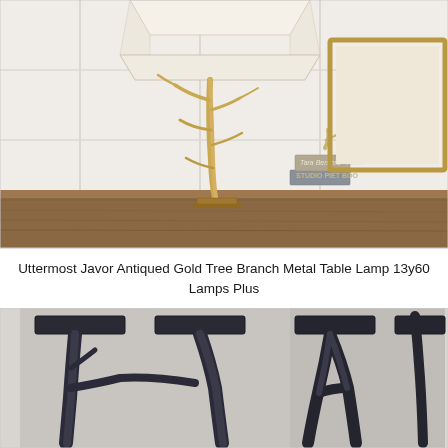[Figure (photo): A gold antiqued tree branch metal table lamp with a white drum shade, sitting on a wooden surface. Books and antler decor visible in background.]
Uttermost Javor Antiqued Gold Tree Branch Metal Table Lamp 13y60
Lamps Plus
[Figure (photo): Two dark metal tree branch table lamp bases shown side by side, close-up view showing the branch-like stems and square bases.]